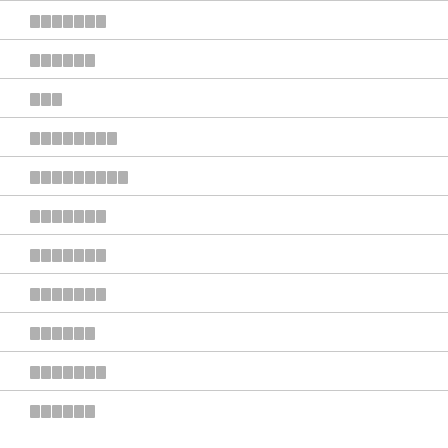███████
██████
███
████████
█████████
███████
███████
███████
██████
███████
██████